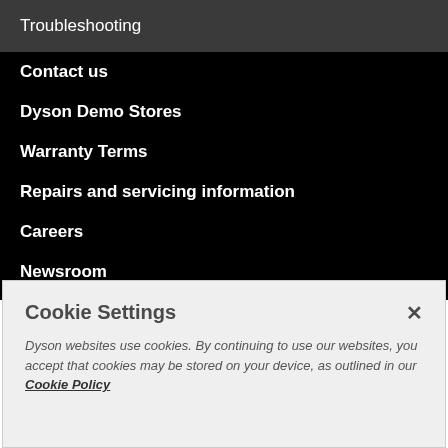Troubleshooting
Contact us
Dyson Demo Stores
Warranty Terms
Repairs and servicing information
Careers
Newsroom
Modern Slavery Act Statement
Company Information
Counterfeit Machines
Cookie Settings
Dyson websites use cookies. By continuing to use our websites, you accept that cookies may be stored on your device, as outlined in our Cookie Policy